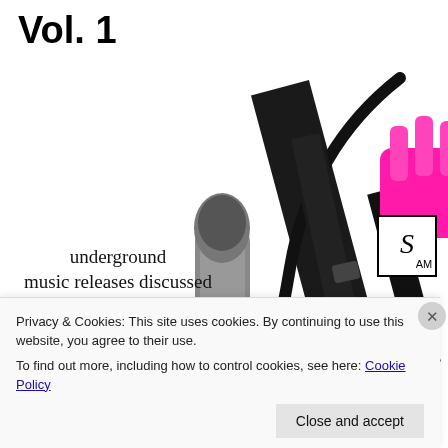Vol. 1
[Figure (illustration): Album cover artwork showing hands with pink gloves holding audio jack cables and a microphone strap with 'underground music releases discussed by Alex Spalding & Kai Nobuko & co' text overlay. SP Recordings logo in top right corner. sprecordings.com watermark on right side.]
Privacy & Cookies: This site uses cookies. By continuing to use this website, you agree to their use.
To find out more, including how to control cookies, see here: Cookie Policy
Close and accept